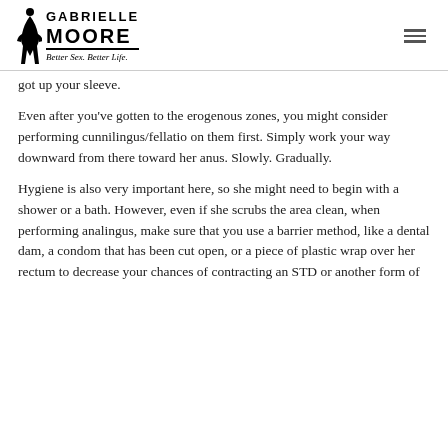Gabrielle Moore — Better Sex. Better Life.
got up your sleeve.
Even after you've gotten to the erogenous zones, you might consider performing cunnilingus/fellatio on them first. Simply work your way downward from there toward her anus. Slowly. Gradually.
Hygiene is also very important here, so she might need to begin with a shower or a bath. However, even if she scrubs the area clean, when performing analingus, make sure that you use a barrier method, like a dental dam, a condom that has been cut open, or a piece of plastic wrap over her rectum to decrease your chances of contracting an STD or another form of